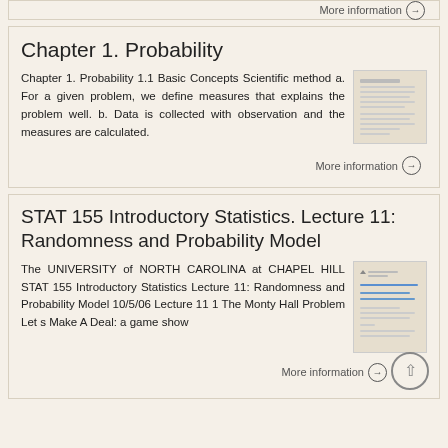More information →
Chapter 1. Probability
Chapter 1. Probability 1.1 Basic Concepts Scientific method a. For a given problem, we define measures that explains the problem well. b. Data is collected with observation and the measures are calculated.
More information →
STAT 155 Introductory Statistics. Lecture 11: Randomness and Probability Model
The UNIVERSITY of NORTH CAROLINA at CHAPEL HILL STAT 155 Introductory Statistics Lecture 11: Randomness and Probability Model 10/5/06 Lecture 11 1 The Monty Hall Problem Let s Make A Deal: a game show
More information →